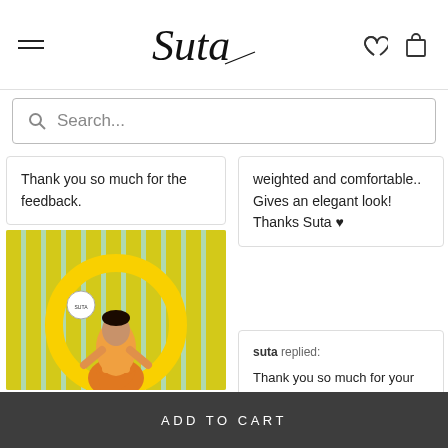[Figure (screenshot): Suta brand navigation bar with hamburger menu, cursive logo, heart icon, and bag icon]
Search...
Thank you so much for the feedback.
weighted and comfortable.. Gives an elegant look! Thanks Suta ♥
[Figure (photo): Woman wearing an orange saree standing inside a large circular yellow ring frame with colorful background]
suta replied: Thank you so much for your review and for sharing your beautiful Picture. We are glad to hear that you loved our collection.
[Figure (photo): Partial image of a person with dark hair, cropped at bottom]
ADD TO CART